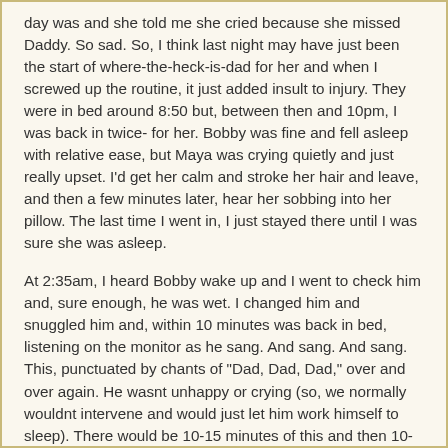day was and she told me she cried because she missed Daddy.  So sad.  So, I think last night may have just been the start of where-the-heck-is-dad for her and when I screwed up the routine, it just added insult to injury.  They were in bed around 8:50 but, between then and 10pm, I was back in twice- for her.  Bobby was fine and fell asleep with relative ease, but Maya was crying quietly and just really upset.  I'd get her calm and stroke her hair and leave, and then a few minutes later, hear her sobbing into her pillow.  The last time I went in, I just stayed there until I was sure she was asleep.

At 2:35am, I heard Bobby wake up and I went to check him and, sure enough, he was wet.  I changed him and snuggled him and, within 10 minutes was back in bed, listening on the monitor as he sang.  And sang. And sang.  This, punctuated by chants of "Dad, Dad, Dad," over and over again.  He wasnt unhappy or crying (so, we normally wouldnt intervene and would just let him work himself to sleep).  There would be 10-15 minutes of this and then 10-15 minutes of silence.  Just as I'd get ready to doze, it would start again.  For 2 hours.  Maya woke up at one point and, no joke, told Bobby